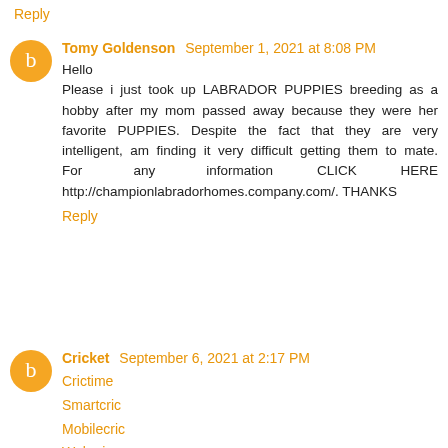Reply
Tomy Goldenson September 1, 2021 at 8:08 PM
Hello
Please i just took up LABRADOR PUPPIES breeding as a hobby after my mom passed away because they were her favorite PUPPIES. Despite the fact that they are very intelligent, am finding it very difficult getting them to mate. For any information CLICK HERE http://championlabradorhomes.company.com/. THANKS
Reply
Cricket September 6, 2021 at 2:17 PM
Crictime
Smartcric
Mobilecric
Webcric
Touchcric